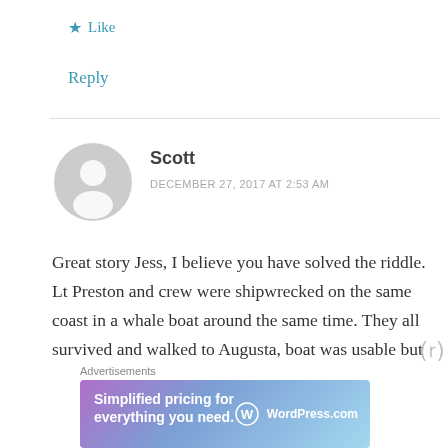★ Like
Reply
Scott
DECEMBER 27, 2017 AT 2:53 AM
Great story Jess, I believe you have solved the riddle. Lt Preston and crew were shipwrecked on the same coast in a whale boat around the same time. They all survived and walked to Augusta, boat was usable but the waves make it
[Figure (other): WordPress.com advertisement banner: 'Simplified pricing for everything you need.' with WordPress.com logo on a purple-blue gradient background]
Advertisements